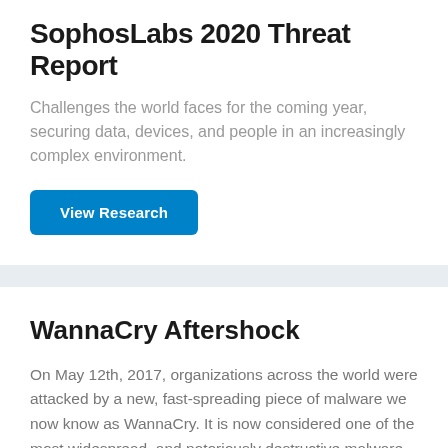SophosLabs 2020 Threat Report
Challenges the world faces for the coming year, securing data, devices, and people in an increasingly complex environment.
[Figure (other): Blue button labeled 'View Research']
WannaCry Aftershock
On May 12th, 2017, organizations across the world were attacked by a new, fast-spreading piece of malware we now know as WannaCry. It is now considered one of the most widespread, and notoriously destructive malware attacks in histor…